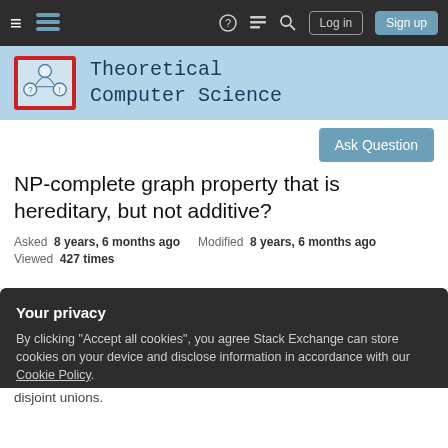Theoretical Computer Science Stack Exchange navigation bar with Log in and Sign up buttons
[Figure (logo): Theoretical Computer Science Stack Exchange site logo with graph icon and site name in monospace font]
Ask Question
NP-complete graph property that is hereditary, but not additive?
Asked 8 years, 6 months ago   Modified 8 years, 6 months ago
Viewed 427 times
Your privacy
By clicking "Accept all cookies", you agree Stack Exchange can store cookies on your device and disclose information in accordance with our Cookie Policy.
Accept all cookies   Customize settings
disjoint unions.